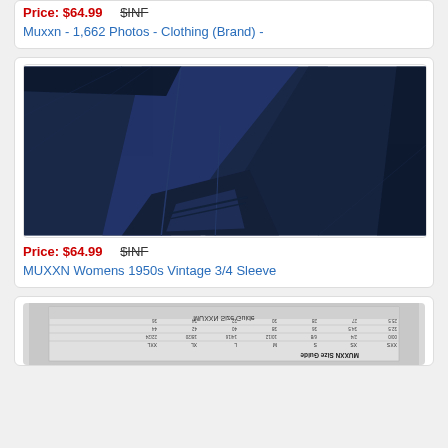Price: $64.99   $INF
Muxxn - 1,662 Photos - Clothing (Brand) -
[Figure (photo): Close-up photo of navy blue fabric/sleeve of a vintage dress, showing stitching and folded fabric details]
Price: $64.99   $INF
MUXXN Womens 1950s Vintage 3/4 Sleeve
[Figure (table-as-image): MUXXN Size Guide table showing size measurements, displayed upside down/mirrored]